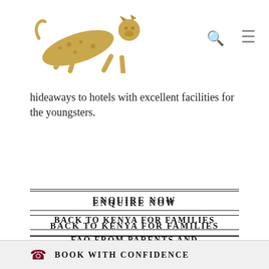[Figure (logo): Gold leopard logo jumping/leaping to the right]
hideaways to hotels with excellent facilities for the youngsters.
ENQUIRE NOW
BACK TO KENYA FOR FAMILIES
FAQ FROM PARENTS AND CHILDREN
THE EDUCATIONAL VALUE OF A SAFARI
BOOK WITH CONFIDENCE
BOOK WITH CONFIDENCE